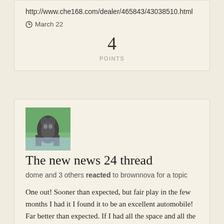http://www.che168.com/dealer/465843/43038510.html
March 22
4
POINTS
[Figure (photo): Avatar photo of a dog/animal against a green background]
The new news 24 thread
dome and 3 others reacted to brownnova for a topic
One out! Sooner than expected, but fair play in the few months I had it I found it to be an excellent automobile! Far better than expected. If I had all the space and all the money it would have...
March 22
4
POINTS